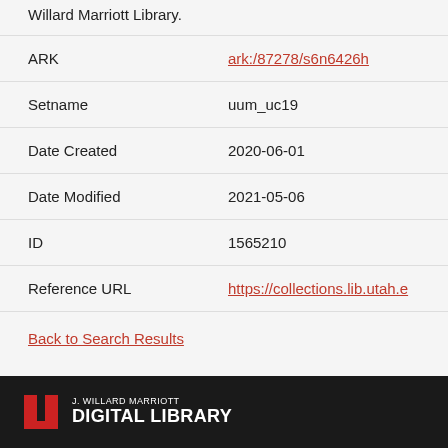Willard Marriott Library.
| Field | Value |
| --- | --- |
| ARK | ark:/87278/s6n6426h |
| Setname | uum_uc19 |
| Date Created | 2020-06-01 |
| Date Modified | 2021-05-06 |
| ID | 1565210 |
| Reference URL | https://collections.lib.utah.e... |
Back to Search Results
[Figure (logo): J. Willard Marriott Digital Library footer logo with University of Utah U logo in red on dark background]